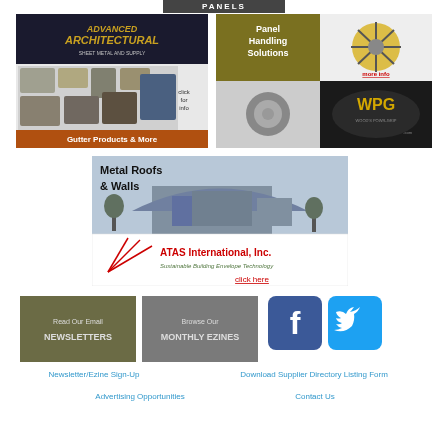PANELS
[Figure (logo): Advanced Architectural Sheet Metal and Supply - Gutter Products & More advertisement]
[Figure (logo): Panel Handling Solutions with mechanical lifting device and WPG Wood's Powr-Grip advertisement]
[Figure (logo): ATAS International, Inc. - Metal Roofs & Walls - Sustainable Building Envelope Technology advertisement]
[Figure (logo): Read Our Email NEWSLETTERS button (olive/dark green)]
[Figure (logo): Browse Our MONTHLY EZINES button (gray)]
[Figure (logo): Facebook icon button]
[Figure (logo): Twitter icon button]
Newsletter/Ezine Sign-Up
Download Supplier Directory Listing Form
Advertising Opportunities
Contact Us